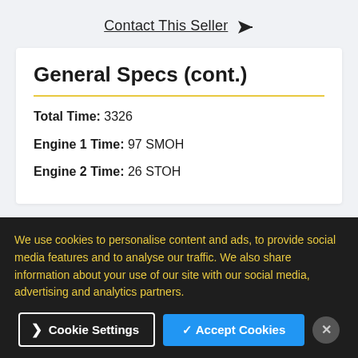Contact This Seller ✈
General Specs (cont.)
Total Time: 3326
Engine 1 Time: 97 SMOH
Engine 2 Time: 26 STOH
We use cookies to personalise content and ads, to provide social media features and to analyse our traffic. We also share information about your use of our site with our social media, advertising and analytics partners.
Cookie Settings
✓ Accept Cookies